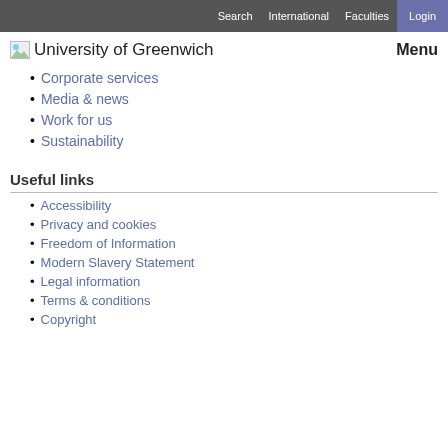Search  International  Faculties  Login
[Figure (logo): University of Greenwich logo with small image icon and text]
Menu
Corporate services
Media & news
Work for us
Sustainability
Useful links
Accessibility
Privacy and cookies
Freedom of Information
Modern Slavery Statement
Legal information
Terms & conditions
Copyright